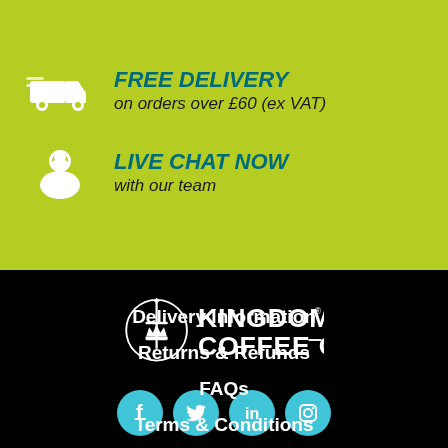FREE DELIVERY
on orders over £60 (ex VAT)
LIVE CHAT NOW
with our team
[Figure (logo): Kingdom Coffee Co logo — circular emblem with sword and crown, white on black]
[Figure (infographic): Social media icons: Facebook, Twitter, LinkedIn, Instagram — teal circles]
Delivery Information
Returns & Refunds
FAQs
Terms & Conditions